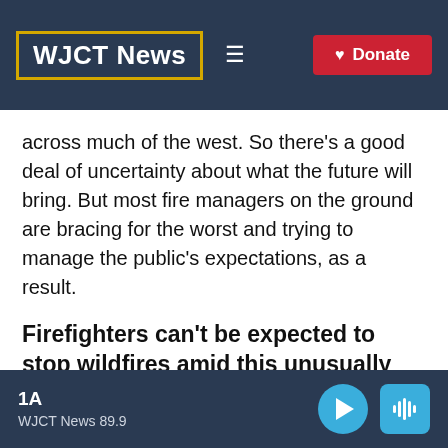WJCT News
across much of the west. So there's a good deal of uncertainty about what the future will bring. But most fire managers on the ground are bracing for the worst and trying to manage the public's expectations, as a result.
Firefighters can't be expected to stop wildfires amid this unusually warm, dry and windy spring
1A
WJCT News 89.9